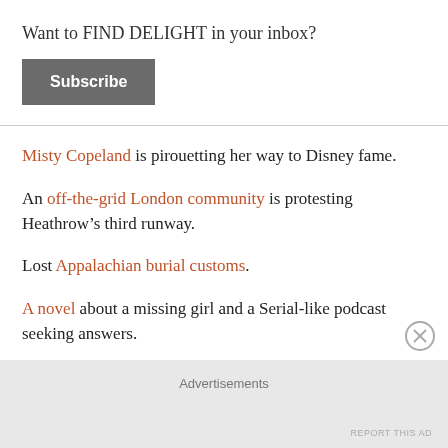Want to FIND DELIGHT in your inbox?
Subscribe
Misty Copeland is pirouetting her way to Disney fame.
An off-the-grid London community is protesting Heathrow’s third runway.
Lost Appalachian burial customs.
A novel about a missing girl and a Serial-like podcast seeking answers.
Advertisements